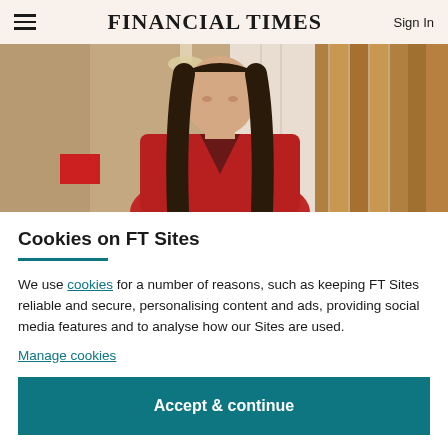FINANCIAL TIMES | Sign In
[Figure (photo): A woman with long dark hair wearing a red v-neck sweater, standing in a warmly lit interior room with curtains in the background.]
Cookies on FT Sites
We use cookies for a number of reasons, such as keeping FT Sites reliable and secure, personalising content and ads, providing social media features and to analyse how our Sites are used.
Manage cookies
Accept & continue